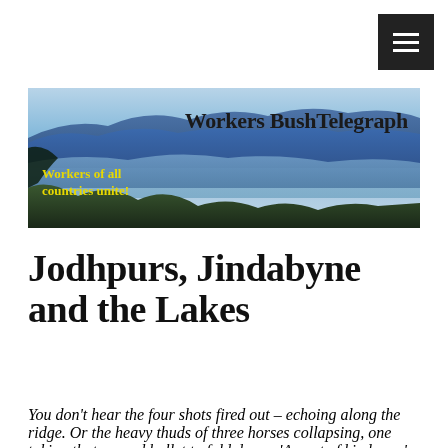[Figure (illustration): Website banner image showing blue mountain ridgeline landscape with text 'Workers BushTelegraph' in bold black and 'Workers of all countries unite!' in yellow bold text]
Jodhpurs, Jindabyne and the Lakes
You don't hear the four shots fired out – echoing along the ridge. Or the heavy thuds of three horses collapsing, one taking that second bullet to fold down: 'An act of kindness,' she'll tell you later, try to explain to anyone who'll listen. 'I couldn't let them burn.' – Alice Bishop in The Constant Hum.
From 2000 till 2011, during the last years